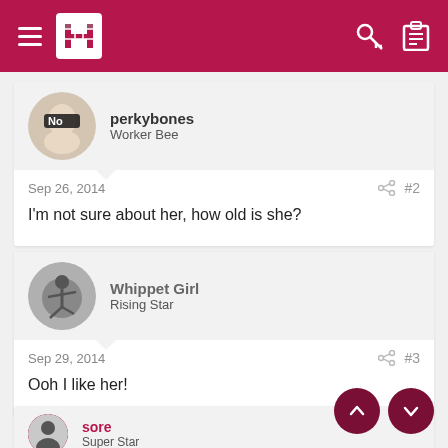Navigation bar with logo, hamburger menu, key and clipboard icons
perkybones
Worker Bee
Sep 26, 2014  #2
I'm not sure about her, how old is she?
Whippet Girl
Rising Star
Sep 29, 2014  #3
Ooh I like her!
sore
Super Star